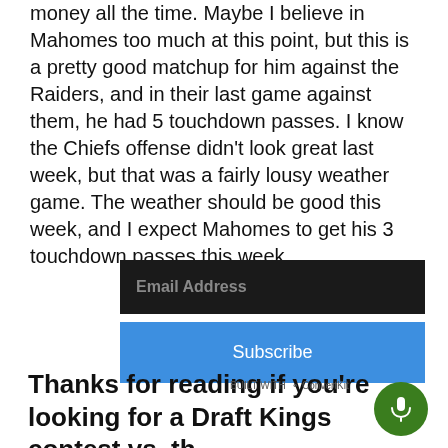money all the time. Maybe I believe in Mahomes too much at this point, but this is a pretty good matchup for him against the Raiders, and in their last game against them, he had 5 touchdown passes. I know the Chiefs offense didn't look great last week, but that was a fairly lousy weather game. The weather should be good this week, and I expect Mahomes to get his 3 touchdown passes this week.
[Figure (other): Email subscription form with dark background email address field and blue Subscribe button]
Thanks for reading if you're looking for a Draft Kings contest vs. th… Dudes, hit the link below.